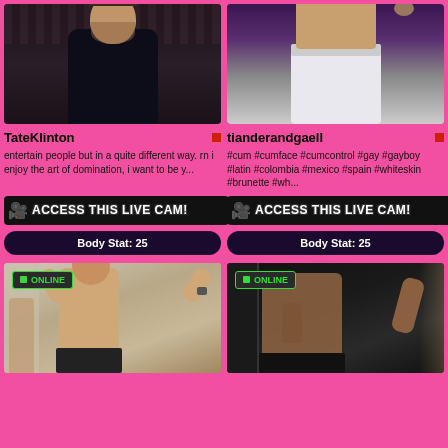[Figure (photo): Profile photo of TateKlinton - man in dark jacket in bar setting]
[Figure (photo): Profile photo of tianderandgaell - person in white underwear]
TateKlinton
tianderandgaell
entertain people but in a quite different way. rn i enjoy the art of domination, i want to be y...
#cum #cumface #cumcontrol #gay #gayboy #latin #colombia #mexico #spain #whiteskin #brunette #wh...
ACCESS THIS LIVE CAM!
ACCESS THIS LIVE CAM!
Body Stat: 25
Body Stat: 25
[Figure (photo): Online profile photo - young shirtless man with cap posing in bathroom mirror]
[Figure (photo): Online profile photo - person in dark room showing torso]